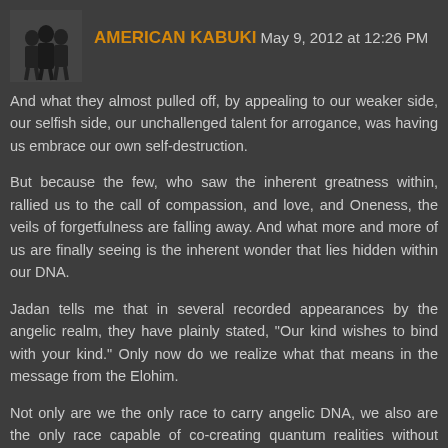AMERICAN KABUKI May 9, 2012 at 12:26 PM
And what they almost pulled off, by appealing to our weaker side, our selfish side, our unchallenged talent for arrogance, was having us embrace our own self-destruction.
But because the few, who saw the inherent greatness within, rallied us to the call of compassion, and love, and Oneness, the veils of forgetfulness are falling away. And what more and more of us are finally seeing is the inherent wonder that lies hidden within our DNA.
Jadan tells me that in several recorded appearances by the angelic realm, they have plainly stated, "Our kind wishes to bind with your kind." Only now do we realize what that means in the message from the Elohim.
Not only are we the only race to carry angelic DNA, we also are the only race capable of co-creating quantum realities without technology. It rests inherently within us like the secret Seed of Light created by the Barbelo in our very beginning.